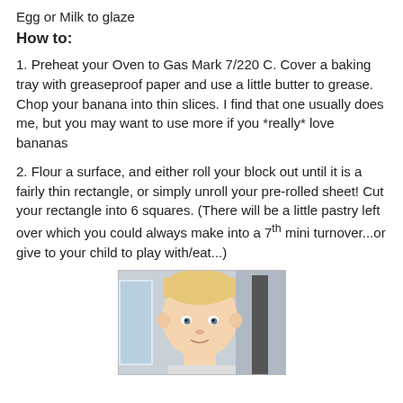Egg or Milk to glaze
How to:
1. Preheat your Oven to Gas Mark 7/220 C. Cover a baking tray with greaseproof paper and use a little butter to grease. Chop your banana into thin slices. I find that one usually does me, but you may want to use more if you *really* love bananas
2. Flour a surface, and either roll your block out until it is a fairly thin rectangle, or simply unroll your pre-rolled sheet! Cut your rectangle into 6 squares. (There will be a little pastry left over which you could always make into a 7th mini turnover...or give to your child to play with/eat...)
[Figure (photo): Photo of a young blonde baby/toddler looking at the camera indoors]